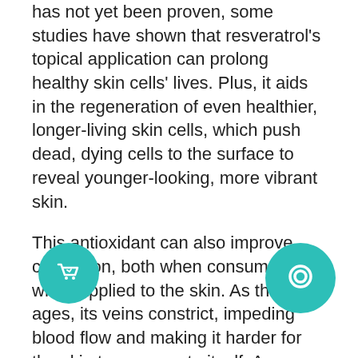has not yet been proven, some studies have shown that resveratrol's topical application can prolong healthy skin cells' lives. Plus, it aids in the regeneration of even healthier, longer-living skin cells, which push dead, dying cells to the surface to reveal younger-looking, more vibrant skin.
This antioxidant can also improve circulation, both when consumed and when applied to the skin. As the skin ages, its veins constrict, impeding blood flow and making it harder for the skin to regenerate itself. As a result, some women will see spider veins begin to appear on their cheeks. With improved blood flow, the look of these spider veins will start to fade.
Better circulation also means that there will be more blood the skin to wash away toxins and impurities giving skin a dull look. It also helps to break up darkened skin, whether it be age spots or